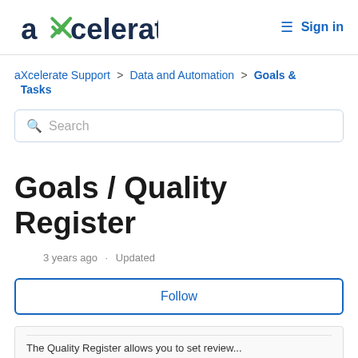[Figure (logo): aXcelerate logo with green checkmark/X and dark navy text]
Sign in
aXcelerate Support > Data and Automation > Goals & Tasks
Search
Goals / Quality Register
3 years ago · Updated
Follow
The Quality Register allows you to set review...